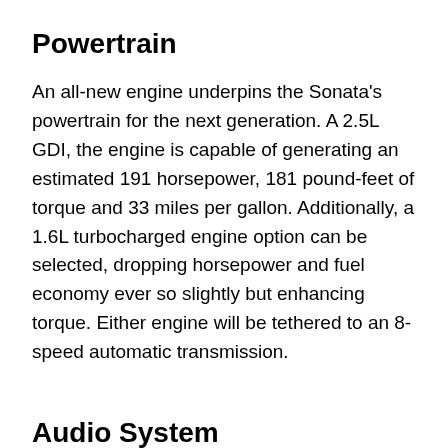Powertrain
An all-new engine underpins the Sonata's powertrain for the next generation. A 2.5L GDI, the engine is capable of generating an estimated 191 horsepower, 181 pound-feet of torque and 33 miles per gallon. Additionally, a 1.6L turbocharged engine option can be selected, dropping horsepower and fuel economy ever so slightly but enhancing torque. Either engine will be tethered to an 8-speed automatic transmission.
Audio System
Lastly, Hyundai and Bose recently began a